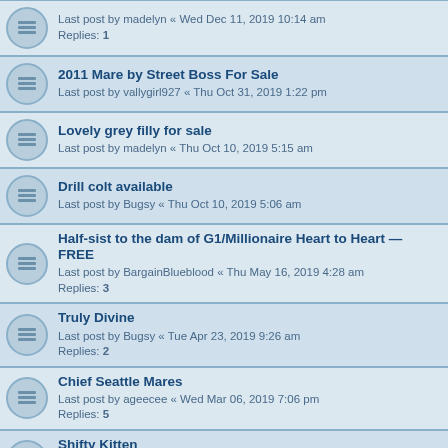Last post by madelyn « Wed Dec 11, 2019 10:14 am
Replies: 1
2011 Mare by Street Boss For Sale
Last post by vallygirl927 « Thu Oct 31, 2019 1:22 pm
Lovely grey filly for sale
Last post by madelyn « Thu Oct 10, 2019 5:15 am
Drill colt available
Last post by Bugsy « Thu Oct 10, 2019 5:06 am
Half-sist to the dam of G1/Millionaire Heart to Heart — FREE
Last post by BargainBlueblood « Thu May 16, 2019 4:28 am
Replies: 3
Truly Divine
Last post by Bugsy « Tue Apr 23, 2019 9:26 am
Replies: 2
Chief Seattle Mares
Last post by ageecee « Wed Mar 06, 2019 7:06 pm
Replies: 5
Shifty Kitten
Last post by skeenan « Wed Feb 13, 2019 12:37 pm
Replies: 11
California
Last post by madelyn « Wed Nov 28, 2018 7:33 am
My Cousin Lucky
Last post by 20dourmdd « Thu Nov 08, 2018 9:46 pm
Hennessy mare — family of Holy Bull — free to good home